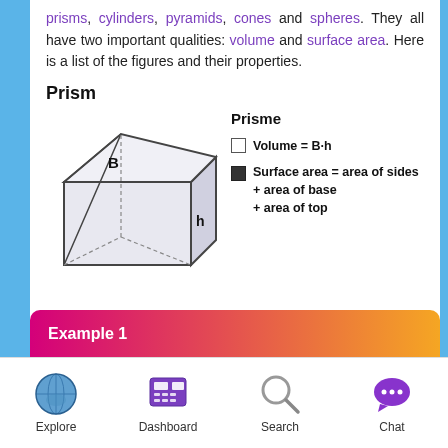prisms, cylinders, pyramids, cones and spheres. They all have two important qualities: volume and surface area. Here is a list of the figures and their properties.
Prism
[Figure (illustration): 3D triangular prism diagram with label B on top face and h for height on side, showing dashed hidden edges]
Prisme
Volume = B·h
Surface area = area of sides + area of base + area of top
Example 1
Explore  Dashboard  Search  Chat